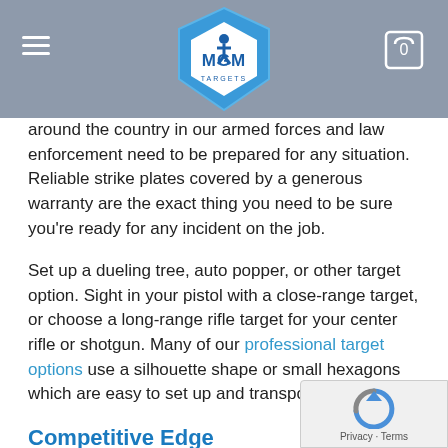MGM Targets header with hamburger menu and cart icon
around the country in our armed forces and law enforcement need to be prepared for any situation. Reliable strike plates covered by a generous warranty are the exact thing you need to be sure you're ready for any incident on the job.
Set up a dueling tree, auto popper, or other target option. Sight in your pistol with a close-range target, or choose a long-range rifle target for your center rifle or shotgun. Many of our professional target options use a silhouette shape or small hexagons which are easy to set up and transport.
Competitive Edge
A competition can feel bewildering without the right